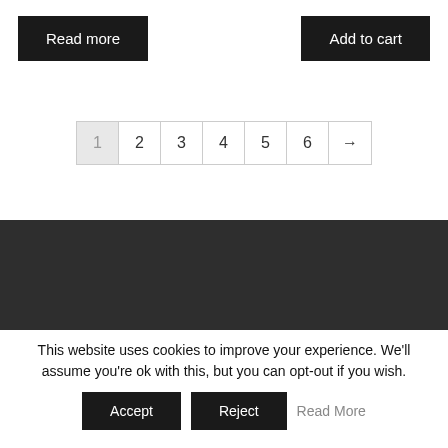[Figure (screenshot): Two buttons side by side: 'Read more' on the left and 'Add to cart' on the right, both black with white text]
[Figure (screenshot): Pagination bar showing pages 1 (active/greyed), 2, 3, 4, 5, 6, and a right-arrow button]
[Figure (screenshot): Dark grey banner with a white rounded shape at the bottom center]
This website uses cookies to improve your experience. We'll assume you're ok with this, but you can opt-out if you wish.
[Figure (screenshot): Cookie consent buttons: Accept (black), Reject (black), Read More (grey link)]